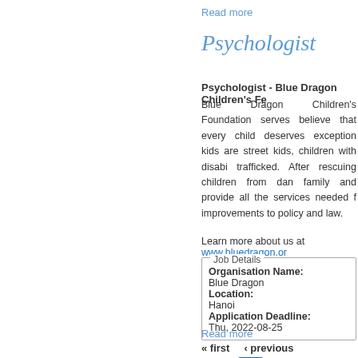Read more
Psychologist
Psychologist - Blue Dragon Children's Fe
Blue Dragon Children's Foundation serves believe that every child deserves exception kids are street kids, children with disabi trafficked. After rescuing children from dan family and provide all the services needed f improvements to policy and law.
Learn more about us at www.bluedragon.or
| Job Details |
| --- |
| Organisation Name: | Blue Dragon |
| Location: | Hanoi |
| Application Deadline: | Thu, 2022-08-25 |
Read more
« first   ‹ previous   15   16   17   next ›